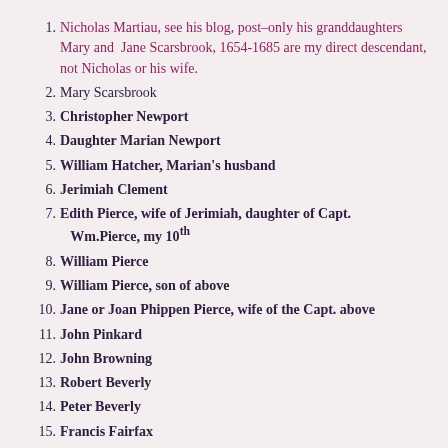1. Nicholas Martiau, see his blog, post–only his granddaughters Mary and Jane Scarsbrook, 1654-1685 are my direct descendant, not Nicholas or his wife.
2. Mary Scarsbrook
3. Christopher Newport
4. Daughter Marian Newport
5. William Hatcher, Marian's husband
6. Jerimiah Clement
7. Edith Pierce, wife of Jerimiah, daughter of Capt. Wm.Pierce, my 10th
8. William Pierce
9. William Pierce, son of above
10. Jane or Joan Phippen Pierce, wife of the Capt. above
11. John Pinkard
12. John Browning
13. Robert Beverly
14. Peter Beverly
15. Francis Fairfax